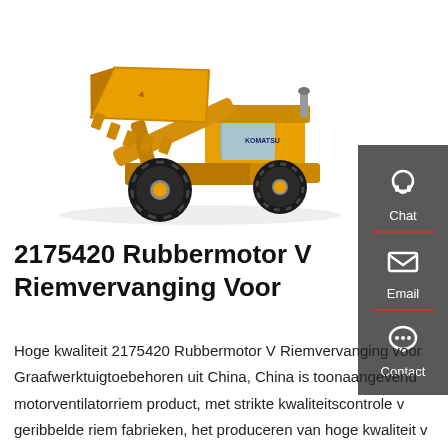[Figure (photo): Yellow wheel loader (front loader / excavator attachment) with raised bucket, photographed on white background. Large machine with black tires and yellow body.]
2175420 Rubbermotor V Riemvervanging Voor
Hoge kwaliteit 2175420 Rubbermotor V Riemvervanging voor Graafwerktuigtoebehoren uit China, China is toonaangevend motorventilatorriem product, met strikte kwaliteitscontrole v geribbelde riem fabrieken, het produceren van hoge kwaliteit v